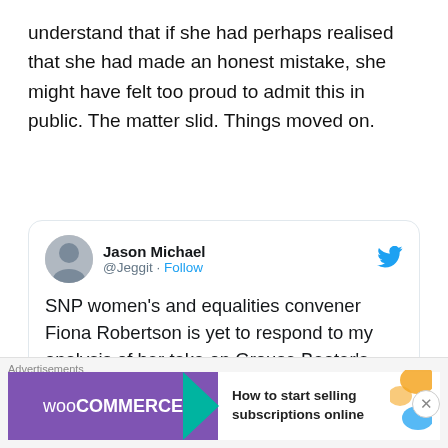understand that if she had perhaps realised that she had made an honest mistake, she might have felt too proud to admit this in public. The matter slid. Things moved on.
[Figure (screenshot): Tweet from Jason Michael (@Jeggit) with Follow link and Twitter bird icon. Tweet text: SNP women's and equalities convener Fiona Robertson is yet to respond to my analysis of her take on Grouse Beater's alleged antisemitism. @FionaSnp. Partial image strip at bottom of tweet card.]
[Figure (other): WooCommerce advertisement banner: 'How to start selling subscriptions online']